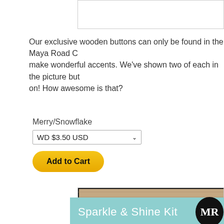[Figure (screenshot): Top portion of a product image box, white background with gray border]
Our exclusive wooden buttons can only be found in the Maya Road C... make wonderful accents. We've shown two of each in the picture but... on! How awesome is that?
Merry/Snowflake
WD $3.50 USD
Add to Cart
[Figure (photo): Sparkle & Shine Kit product image with snowflakes on rustic wood background, with teal banner and MR logo]